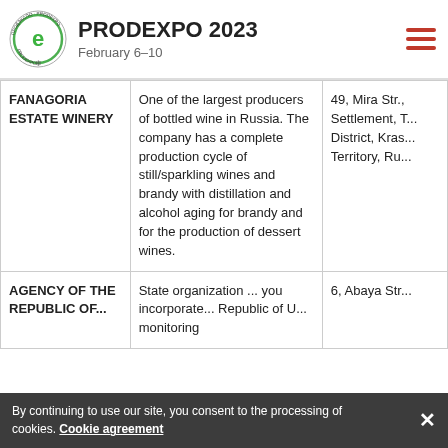PRODEXPO 2023 February 6–10
| Company | Description | Address |
| --- | --- | --- |
| FANAGORIA ESTATE WINERY | One of the largest producers of bottled wine in Russia. The company has a complete production cycle of still/sparkling wines and brandy with distillation and alcohol aging for brandy and for the production of dessert wines. | 49, Mira Str., Settlement, T... District, Kras... Territory, Ru... |
| AGENCY OF THE REPUBLIC OF... | State organization ... you incorporate... Republic of U... monitoring | 6, Abaya Str... |
By continuing to use our site, you consent to the processing of cookies. Cookie agreement